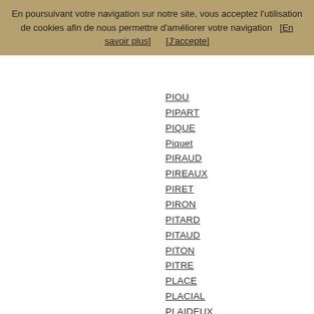En poursuivant votre navigation sur notre site, vous acceptez l'utilisation de cookies afin de nous permettre d'améliorer votre navigation   [En savoir plus]       [J'accepte]
PIOU
PIPART
PIQUE
Piquet
PIRAUD
PIREAUX
PIRET
PIRON
PITARD
PITAUD
PITON
PITRE
PLACE
PLACIAL
PLAIDEUX
PLAIT
PLANCHENAULT
PLANCHON
PLANCOUET
PLANES
PLANQUET
PLANSON